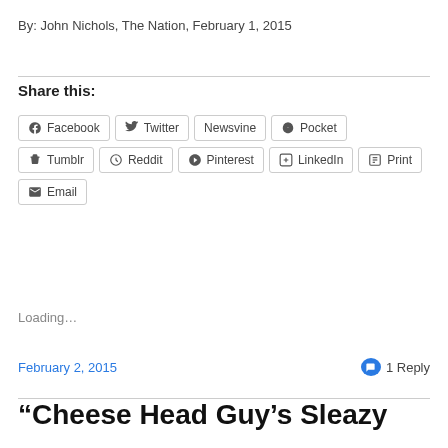By: John Nichols, The Nation, February 1, 2015
Share this:
Facebook  Twitter  Newsvine  Pocket  Tumblr  Reddit  Pinterest  LinkedIn  Print  Email
Loading...
February 2, 2015    1 Reply
“Cheese Head Guy’s Sleazy